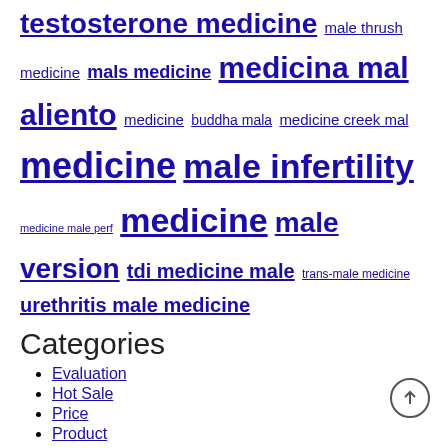testosterone medicine male thrush medicine mals medicine medicina mal aliento medicine buddha mala medicine creek mal medicine male infertility medicine male perf medicine medicine male version tdi medicine male trans-male medicine urethritis male medicine
Categories
Evaluation
Hot Sale
Price
Product
Recent Posts
How to fix your penis? Male cat treats a penis
What is male thruster medicine?